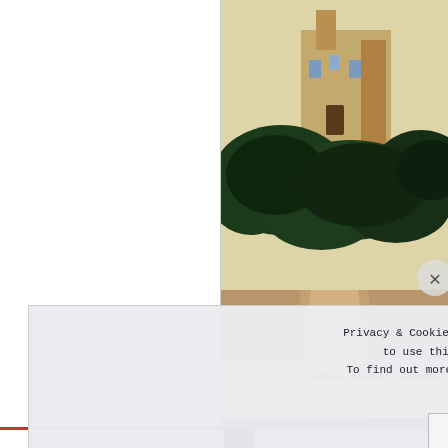[Figure (photo): Partial view of a vintage postcard illustration showing Manila Cathedral with lush green trees/hedges in front, labeled '4014—Manila Cathedral' at the bottom in italic serif font. The postcard has a cream/beige background.]
[Figure (screenshot): Blue gradient advertisement banner with a pink/magenta 'Build Your Website' button.]
Privacy & Cookies: This site uses cookies. By continuing to use this website, you agree to their use. To find out more, including how to control cookies, see here: Cookie Policy
Close and accept